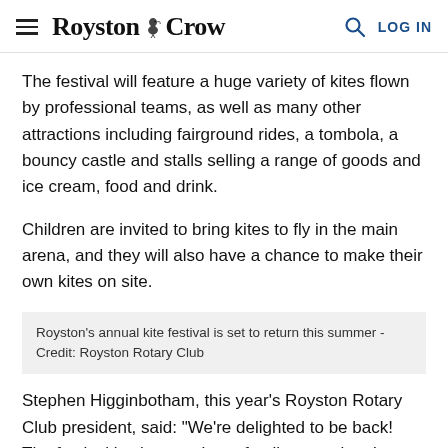Royston Crow | LOG IN
The festival will feature a huge variety of kites flown by professional teams, as well as many other attractions including fairground rides, a tombola, a bouncy castle and stalls selling a range of goods and ice cream, food and drink.
Children are invited to bring kites to fly in the main arena, and they will also have a chance to make their own kites on site.
Royston's annual kite festival is set to return this summer - Credit: Royston Rotary Club
Stephen Higginbotham, this year's Royston Rotary Club president, said: "We're delighted to be back! The festival is always a huge family attraction. It draws